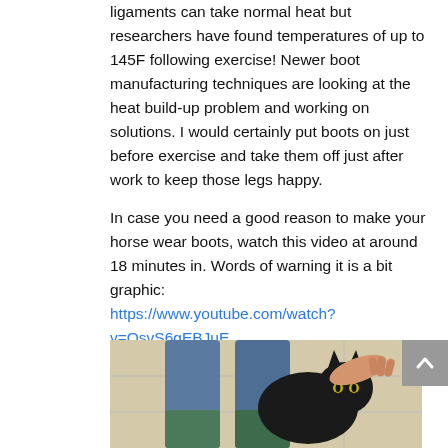ligaments can take normal heat but researchers have found temperatures of up to 145F following exercise!  Newer boot manufacturing techniques are looking at the heat build-up problem and working on solutions.  I would certainly put boots on just before exercise and take them off just after work to keep those legs happy.
In case you need a good reason to make your horse wear boots, watch this video at around 18 minutes in.  Words of warning it is a bit graphic: https://www.youtube.com/watch?v=QsvS6gEBJuE
And on that note, I'm off to ponder my new line of feline footwear.
[Figure (photo): Photo of a black cat being held by a person wearing jeans and green boots/footwear, against a tiled wall background.]